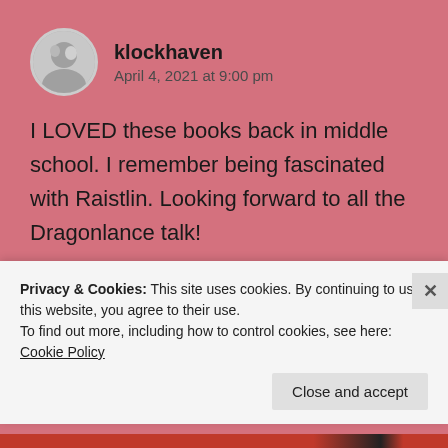klockhaven
April 4, 2021 at 9:00 pm
I LOVED these books back in middle school. I remember being fascinated with Raistlin. Looking forward to all the Dragonlance talk!
★ Liked by 1 person
↪ Reply
Privacy & Cookies: This site uses cookies. By continuing to use this website, you agree to their use.
To find out more, including how to control cookies, see here: Cookie Policy
Close and accept